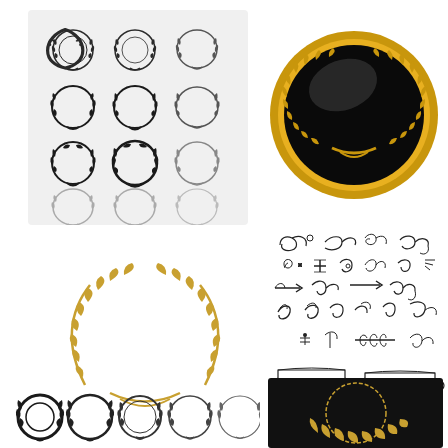[Figure (illustration): Grid of multiple small black/dark gray laurel wreath icons arranged in rows and columns on a light background, showing various styles of circular and semicircular wreaths]
[Figure (illustration): A large circular black medal/badge with gold border featuring gold laurel branches on left and right sides forming a wreath around the dark center, with a glossy highlight]
[Figure (illustration): A single golden/wheat-colored circular laurel wreath with detailed leaf branches forming a complete circle, on white background]
[Figure (illustration): Collection of hand-drawn decorative calligraphic flourishes, swirls, floral elements, arrows, banners/ribbons, and ornamental dividers arranged in a grid layout]
[Figure (illustration): Row of five small black laurel wreath icons in varying styles from open to closed circles, displayed at small size on white background]
[Figure (illustration): Dark/black background panel showing a partial gold laurel wreath or award element, partially visible at bottom of page]